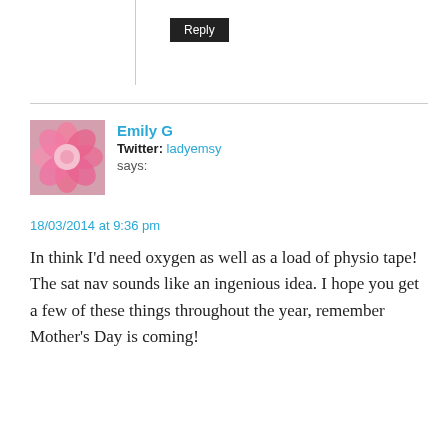Reply
Emily G
Twitter: ladyemsy
says:
18/03/2014 at 9:36 pm
In think I'd need oxygen as well as a load of physio tape! The sat nav sounds like an ingenious idea. I hope you get a few of these things throughout the year, remember Mother's Day is coming!
Emily G recently posted...Moroccan Style Vegetables and Couscous
Reply
Donna Navarro says: